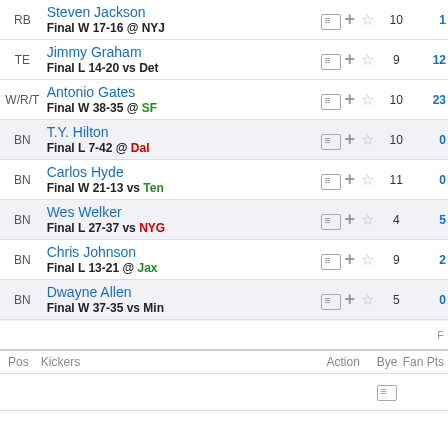| Pos | Player | Action | Bye | Fan Pts |
| --- | --- | --- | --- | --- |
| RB | Steven Jackson
Final W 17-16 @ NYJ |  | 10 | 1 |
| TE | Jimmy Graham
Final L 14-20 vs Det |  | 9 | 12 |
| W/R/T | Antonio Gates
Final W 38-35 @ SF |  | 10 | 23 |
| BN | T.Y. Hilton
Final L 7-42 @ Dal |  | 10 | 0 |
| BN | Carlos Hyde
Final W 21-13 vs Ten |  | 11 | 0 |
| BN | Wes Welker
Final L 27-37 vs NYG |  | 4 | 5 |
| BN | Chris Johnson
Final L 13-21 @ Jax |  | 9 | 2 |
| BN | Dwayne Allen
Final W 37-35 vs Min |  | 5 | 0 |
| Pos | Kickers | Action | Bye | Fan Pts |
| --- | --- | --- | --- | --- |